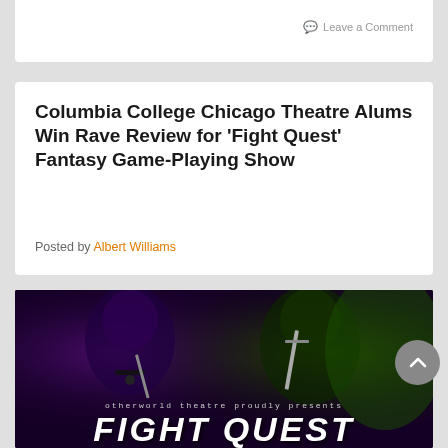Leave a Comment
Columbia College Chicago Theatre Alums Win Rave Review for ‘Fight Quest’ Fantasy Game-Playing Show
Posted by Albert Williams
[Figure (photo): Promotional poster for 'Fight Quest' by Otherworld Theatre, featuring two fantasy characters holding weapons against a dark background with purple and green lighting, with the text 'otherworld theatre proudly presents FIGHT QUEST' at the bottom.]